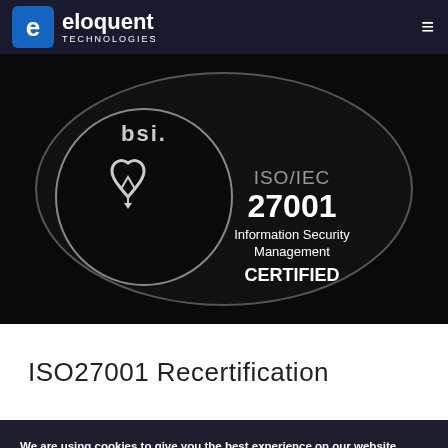eloquent TECHNOLOGIES
[Figure (logo): BSI ISO/IEC 27001 Information Security Management CERTIFIED badge on black oval background with BSI heart-pencil logo]
ISO27001 Recertification
We are using cookies to give you the best experience on our website.
You can find out more about which cookies we are using or switch them off in settings.
Accept